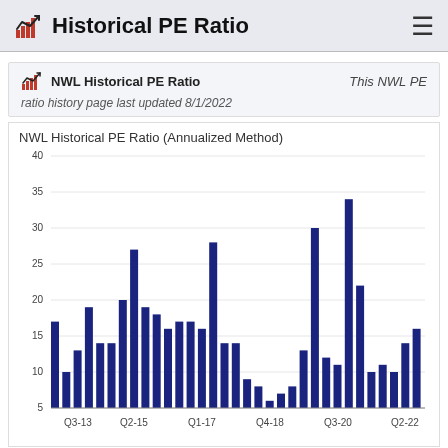Historical PE Ratio
NWL Historical PE Ratio   This NWL PE
ratio history page last updated 8/1/2022
[Figure (bar-chart): NWL Historical PE Ratio (Annualized Method)]